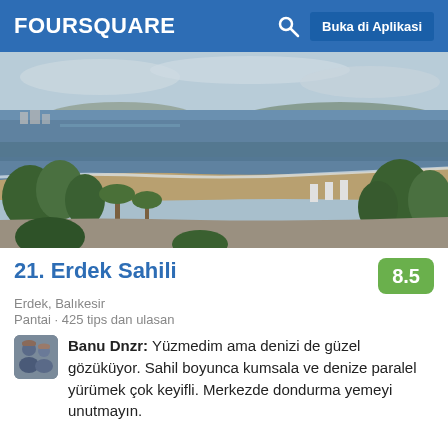FOURSQUARE  Buka di Aplikasi
[Figure (photo): Aerial/elevated view of Erdek beach coastline with sea, sandy beach, trees, and town in background under overcast sky]
21. Erdek Sahili
8.5
Erdek, Balıkesir
Pantai · 425 tips dan ulasan
Banu Dnzr: Yüzmedim ama denizi de güzel gözüküyor. Sahil boyunca kumsala ve denize paralel yürümek çok keyifli. Merkezde dondurma yemeyi unutmayın.